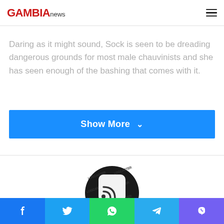GAMBIAnews
Daring as it might sound, Sock is seen to be dreading dangerous grounds for most male chauvinists and she has seen enough of the bashing that comes with it.
Show More
[Figure (logo): Circular black logo with RSS feed icon and text 'm Breaki' and 'Where News Breaks Firs' — Gambia Breaking News logo]
Editor
Facebook | Twitter | WhatsApp | Telegram | Viber social share buttons